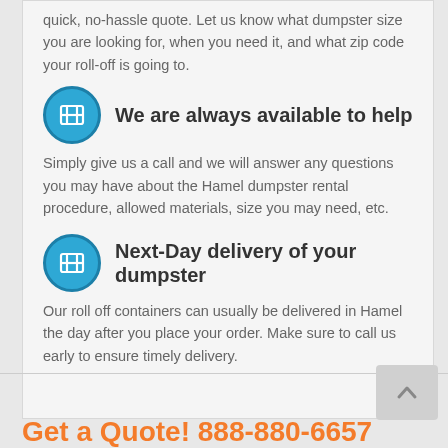quick, no-hassle quote. Let us know what dumpster size you are looking for, when you need it, and what zip code your roll-off is going to.
We are always available to help
Simply give us a call and we will answer any questions you may have about the Hamel dumpster rental procedure, allowed materials, size you may need, etc.
Next-Day delivery of your dumpster
Our roll off containers can usually be delivered in Hamel the day after you place your order. Make sure to call us early to ensure timely delivery.
Get a Quote! 888-880-6657